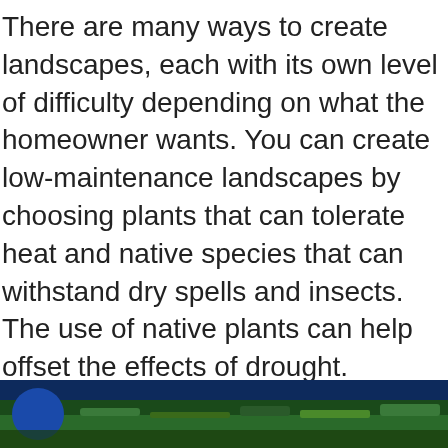There are many ways to create landscapes, each with its own level of difficulty depending on what the homeowner wants. You can create low-maintenance landscapes by choosing plants that can tolerate heat and native species that can withstand dry spells and insects. The use of native plants can help offset the effects of drought. Although homeowners should strive to create beautiful and sustainable landscaping, it is important that they consider the climate of their area. For example, climates located in mountainous regions may require more maintenance in regards to soil and water. Both home and business owners need to create sustainable landscaping to improve their property's value and beautify their surroundings.
[Figure (photo): Partially visible image at the bottom of the page showing what appears to be a landscaping-related scene with dark green and blue tones, partially cut off.]